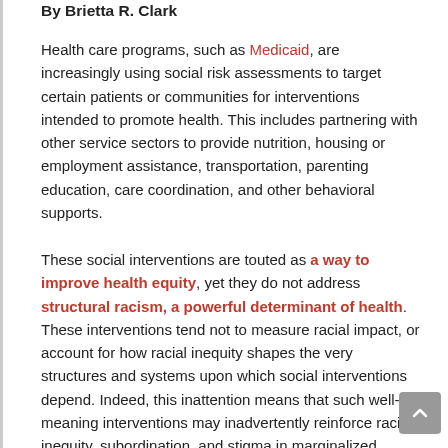By Brietta R. Clark
Health care programs, such as Medicaid, are increasingly using social risk assessments to target certain patients or communities for interventions intended to promote health. This includes partnering with other service sectors to provide nutrition, housing or employment assistance, transportation, parenting education, care coordination, and other behavioral supports.
These social interventions are touted as a way to improve health equity, yet they do not address structural racism, a powerful determinant of health. These interventions tend not to measure racial impact, or account for how racial inequity shapes the very structures and systems upon which social interventions depend. Indeed, this inattention means that such well-meaning interventions may inadvertently reinforce racial inequity, subordination, and stigma in marginalized communities.